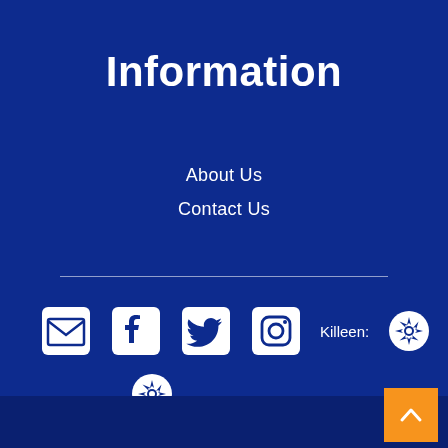Information
About Us
Contact Us
[Figure (infographic): Social media icons row: email/envelope icon, Facebook icon, Twitter icon, Instagram icon, then text 'Killeen:' followed by a Yelp burst icon, then text 'Temple:'. Below that row, another Yelp burst icon. Bottom right has an orange back-to-top button with a caret/chevron up arrow.]